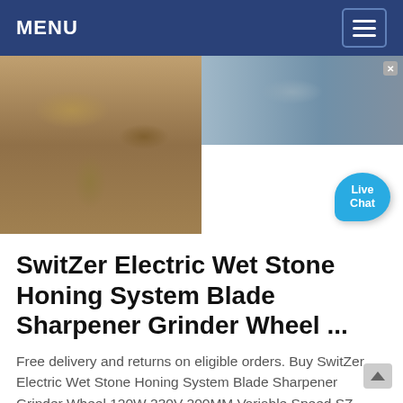MENU
[Figure (photo): Two side-by-side industrial quarry/crushing machine site photos with a Live Chat bubble overlay in the bottom right corner]
SwitZer Electric Wet Stone Honing System Blade Sharpener Grinder Wheel ...
Free delivery and returns on eligible orders. Buy SwitZer Electric Wet Stone Honing System Blade Sharpener Grinder Wheel 120W 230V 200MM Variable Speed SZ-